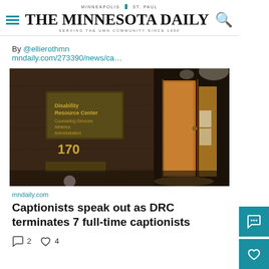MINNEAPOLIS | ST. PAUL
THE MINNESOTA DAILY
SERVING THE UMN COMMUNITY SINCE 1900
By @ellierothmn
mndaily.com/273390/news/ca…
[Figure (photo): Interior hallway showing the Disability Resource Center sign at number 170, with dark wood paneling and yellow/orange doors in background]
mndaily.com
Captionists speak out as DRC terminates 7 full-time captionists
2  4